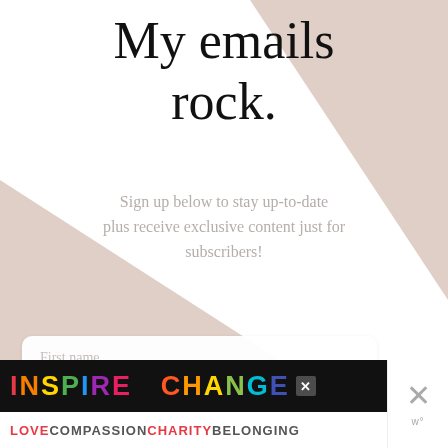My emails rock.
Sign up below to stay up-to-date plus receive exclusive content just for subscribers!
First name
Email address
KEEP ME UPDATED!
[Figure (infographic): INSPIRE CHANGE colorful rainbow-lettered ad banner with LOVE COMPASSION CHARITY BELONGING tagline below]